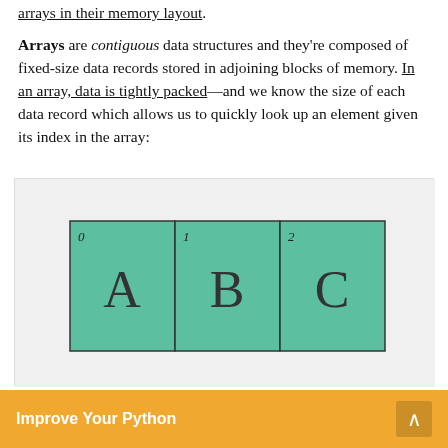arrays in their memory layout.
Arrays are contiguous data structures and they're composed of fixed-size data records stored in adjoining blocks of memory. In an array, data is tightly packed—and we know the size of each data record which allows us to quickly look up an element given its index in the array:
[Figure (illustration): Diagram showing an array with three contiguous memory cells labeled 0, 1, 2, each colored teal and containing letters A, B, C respectively.]
Improve Your Python